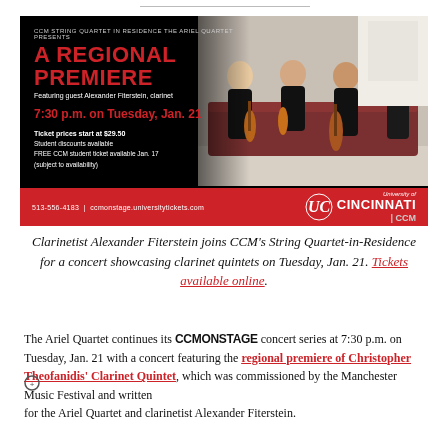[Figure (infographic): Concert advertisement for CCM String Quartet in Residence The Ariel Quartet presenting A Regional Premiere featuring guest Alexander Fiterstein, clarinet. 7:30 p.m. on Tuesday, Jan. 21. Ticket prices start at $29.50. Student discounts available. FREE CCM student ticket available Jan. 17 (subject to availability). Phone: 513-556-4183, website: ccmonstage.universitytickets.com. University of Cincinnati CCM logo.]
Clarinetist Alexander Fiterstein joins CCM's String Quartet-in-Residence for a concert showcasing clarinet quintets on Tuesday, Jan. 21. Tickets available online.
The Ariel Quartet continues its CCMONSTAGE concert series at 7:30 p.m. on Tuesday, Jan. 21 with a concert featuring the regional premiere of Christopher Theofanidis' Clarinet Quintet, which was commissioned by the Manchester Music Festival and written for the Ariel Quartet and clarinetist Alexander Fiterstein.